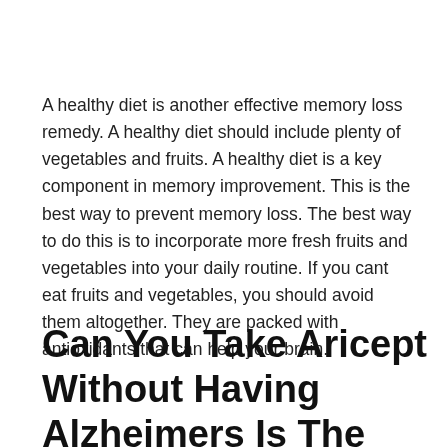A healthy diet is another effective memory loss remedy. A healthy diet should include plenty of vegetables and fruits. A healthy diet is a key component in memory improvement. This is the best way to prevent memory loss. The best way to do this is to incorporate more fresh fruits and vegetables into your daily routine. If you cant eat fruits and vegetables, you should avoid them altogether. They are packed with antioxidants that can help your brain.
Can You Take Aricept Without Having Alzheimers Is The Drug Used For Other Forms Of